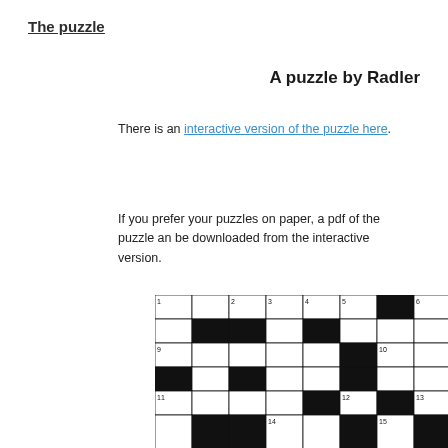The puzzle
A puzzle by Radler
There is an interactive version of the puzzle here.
If you prefer your puzzles on paper, a pdf of the puzzle an be downloaded from the interactive version.
[Figure (other): Partial crossword puzzle grid with numbered squares and black squares]